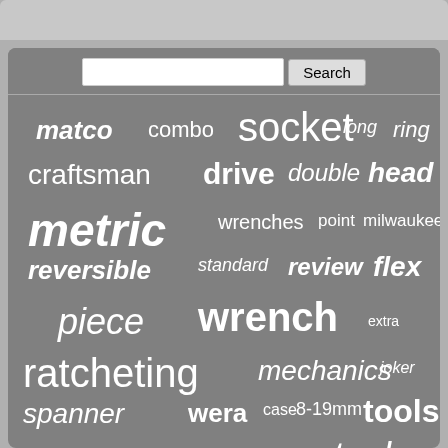[Figure (screenshot): Search bar with text input and Search button on a gray background]
[Figure (infographic): Word cloud of wrench and tool related terms: matco, combo, socket, long, ring, craftsman, drive, double, head, metric, wrenches, point, milwaukee, reversible, standard, review, flex, piece, wrench, extra, ratcheting, mechanics, joker, spanner, wera, case, 8-19mm, tools, ratchet, snap-on, tool, gearwrench, combination, snap, stubby]